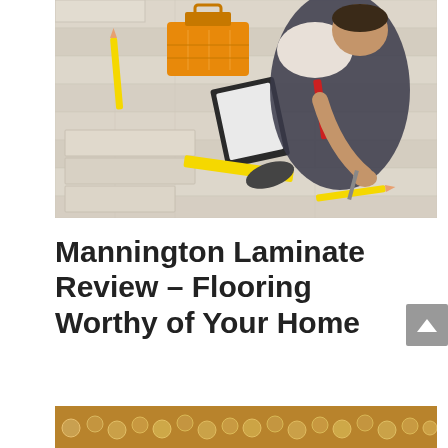[Figure (photo): Overhead view of a worker installing laminate flooring panels. Worker is kneeling on the floor with tools including an orange toolbox, measuring tape, pliers, and pencils around them. Light gray/beige wood-look laminate planks are being laid out.]
Mannington Laminate Review – Flooring Worthy of Your Home
[Figure (photo): Bottom strip showing a close-up of flooring texture with circular/bubble pattern in golden/tan tones.]